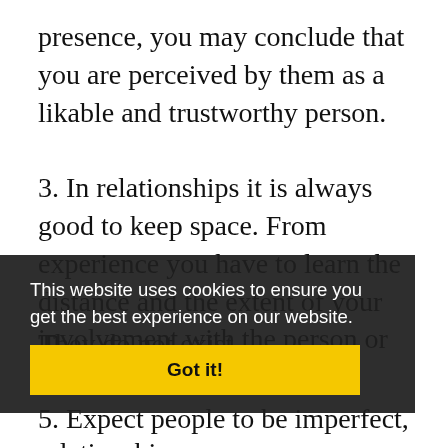presence, you may conclude that you are perceived by them as a likable and trustworthy person.
3. In relationships it is always good to keep space. From experience you have to learn the distance and the extent of your involvement with the person or the relationship.
This website uses cookies to ensure you get the best experience on our website.
Got it!
4. Do not look for ideal relationships. They do not exist.
5. Expect people to be imperfect,